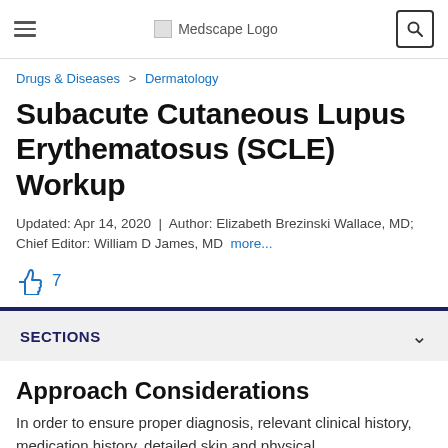Medscape Logo
Drugs & Diseases > Dermatology
Subacute Cutaneous Lupus Erythematosus (SCLE) Workup
Updated: Apr 14, 2020 | Author: Elizabeth Brezinski Wallace, MD; Chief Editor: William D James, MD more...
7
SECTIONS
Approach Considerations
In order to ensure proper diagnosis, relevant clinical history, medication history, detailed skin and physical